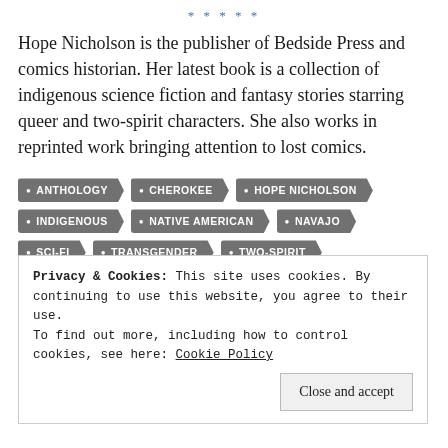*****
Hope Nicholson is the publisher of Bedside Press and comics historian. Her latest book is a collection of indigenous science fiction and fantasy stories starring queer and two-spirit characters. She also works in reprinted work bringing attention to lost comics.
ANTHOLOGY
CHEROKEE
HOPE NICHOLSON
INDIGENOUS
NATIVE AMERICAN
NAVAJO
SCI-FI
TRANSGENDER
TWO-SPIRIT
Privacy & Cookies: This site uses cookies. By continuing to use this website, you agree to their use. To find out more, including how to control cookies, see here: Cookie Policy
Close and accept